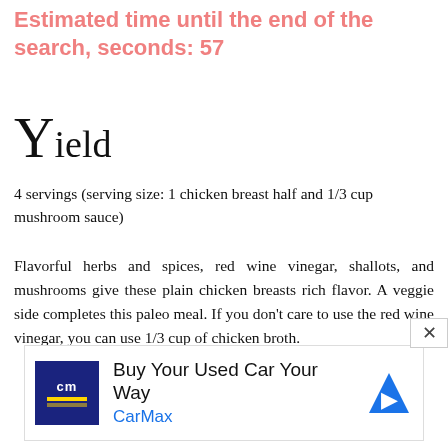Estimated time until the end of the search, seconds: 57
Yield
4 servings (serving size: 1 chicken breast half and 1/3 cup mushroom sauce)
Flavorful herbs and spices, red wine vinegar, shallots, and mushrooms give these plain chicken breasts rich flavor. A veggie side completes this paleo meal. If you don't care to use the red wine vinegar, you can use 1/3 cup of chicken broth.
[Figure (other): CarMax advertisement: Buy Your Used Car Your Way - CarMax logo with navigation icon]